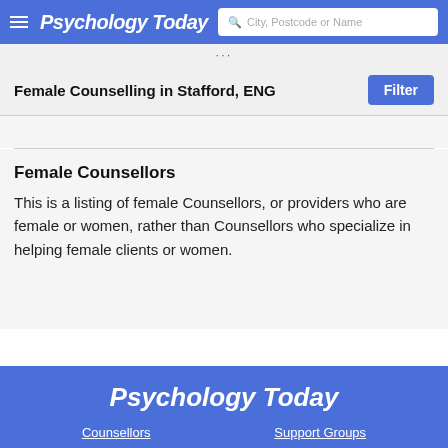Psychology Today — City, Postcode or Name search
Female Counselling in Stafford, ENG
Female Counsellors
This is a listing of female Counsellors, or providers who are female or women, rather than Counsellors who specialize in helping female clients or women.
Psychology Today — Counsellors    Support Groups